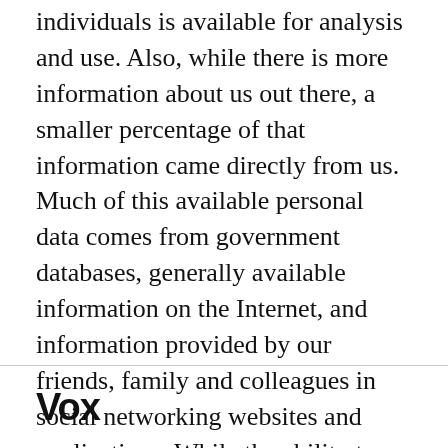individuals is available for analysis and use. Also, while there is more information about us out there, a smaller percentage of that information came directly from us. Much of this available personal data comes from government databases, generally available information on the Internet, and information provided by our friends, family and colleagues in social networking websites and applications. While the ability to consent to data collection and use is still fundamentally important, there are many situations where it is infeasible or impossible. This is why we need to complement consent with a focus on appropriate and
Vox